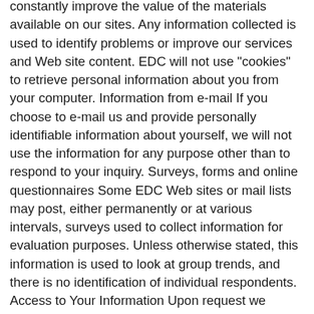constantly improve the value of the materials available on our sites. Any information collected is used to identify problems or improve our services and Web site content. EDC will not use "cookies" to retrieve personal information about you from your computer. Information from e-mail If you choose to e-mail us and provide personally identifiable information about yourself, we will not use the information for any purpose other than to respond to your inquiry. Surveys, forms and online questionnaires Some EDC Web sites or mail lists may post, either permanently or at various intervals, surveys used to collect information for evaluation purposes. Unless otherwise stated, this information is used to look at group trends, and there is no identification of individual respondents. Access to Your Information Upon request we provide site visitors with access to all information, including proprietary information, that we maintain about them. Users can access this information by e-mailing us at dma@edc.org. If you feel that this site is not following its stated information policy, you may contact us